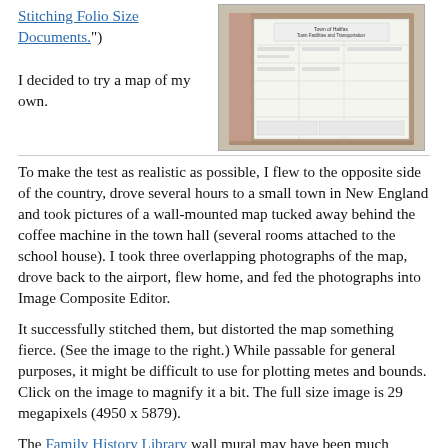Stitching Folio Size Documents.")
I decided to try a map of my own.
[Figure (photo): Photo of a wall-mounted map in a binder showing 'Town of Halifax Town Facilities and Transportation']
To make the test as realistic as possible, I flew to the opposite side of the country, drove several hours to a small town in New England and took pictures of a wall-mounted map tucked away behind the coffee machine in the town hall (several rooms attached to the school house). I took three overlapping photographs of the map, drove back to the airport, flew home, and fed the photographs into Image Composite Editor.
It successfully stitched them, but distorted the map something fierce. (See the image to the right.) While passable for general purposes, it might be difficult to use for plotting metes and bounds. Click on the image to magnify it a bit. The full size image is 29 megapixels (4950 x 5879).
The Family History Library wall mural may have been much bigger, but it may have been easier to stitch because it is all the same flat color background.